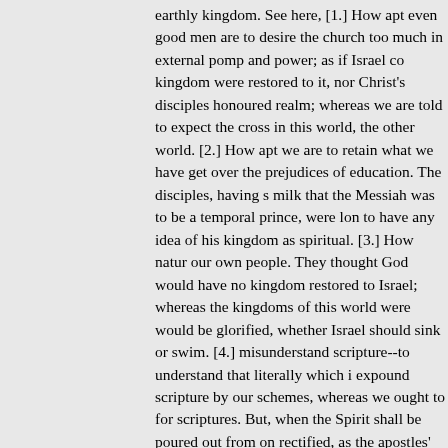earthly kingdom. See here, [1.] How apt even good men are to desire the church too much in external pomp and power; as if Israel could not have the kingdom were restored to it, nor Christ's disciples honoured unless in an earthly realm; whereas we are told to expect the cross in this world, and the crown in the other world. [2.] How apt we are to retain what we have imbibed, and not to get over the prejudices of education. The disciples, having sucked in with their milk that the Messiah was to be a temporal prince, were long ere they could come to have any idea of his kingdom as spiritual. [3.] How natural it is to us to prefer our own people. They thought God would have no kingdom unless it were restored to Israel; whereas the kingdoms of this world were his, and he would be glorified, whether Israel should sink or swim. [4.] How apt we are to misunderstand scripture--to understand that literally which is meant figuratively; to expound scripture by our schemes, whereas we ought to form our schemes by scriptures. But, when the Spirit shall be poured out from on high, these will be rectified, as the apostles' soon after were.
(2.) Their enquiry concerning the time of it: "Lord, wilt thou at this time that thou hast called us together is it for this purpose, that proper steps should be taken for the restoring of the kingdom to Israel? Surely there cannot be a better time than this." Now herein they missed their mark, [1.] That they asked about that which their Master had never directed nor encouraged them to inquire into. They were impatient for the setting up of that kingdom in which they expected to have so great a share, and would anticipate the divine counsels. Christ had promised they should sit on thrones (Luke xxii. 30), and now nothing will serve them but to have the throne immediately, and cannot stay the time; whereas h haste, but is satisfied that God's time is the best time.